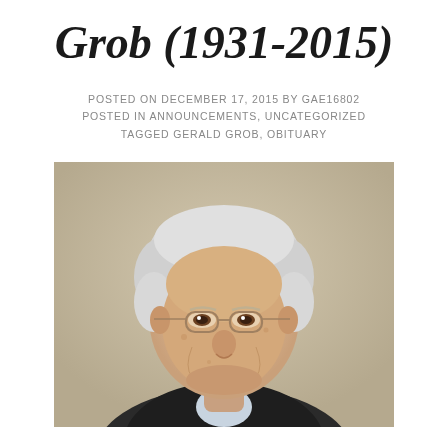Grob (1931-2015)
POSTED ON DECEMBER 17, 2015 BY GAE16802
POSTED IN ANNOUNCEMENTS, UNCATEGORIZED
TAGGED GERALD GROB, OBITUARY
[Figure (photo): Portrait photograph of an elderly man with white/silver hair, wearing glasses and a dark suit with light shirt, smiling, against a light beige/tan background.]